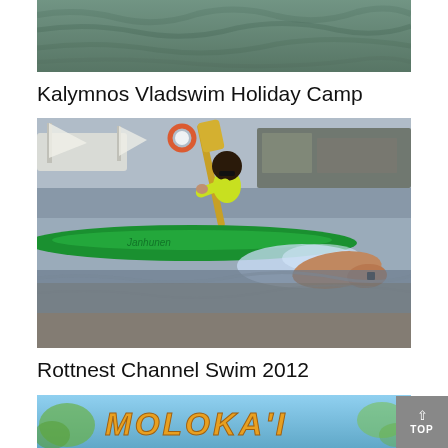[Figure (photo): Partial photo at top showing water/ocean surface with green-blue ripples]
Kalymnos Vladswim Holiday Camp
[Figure (photo): Photo of a woman in yellow high-visibility vest paddling a green kayak alongside a swimmer doing freestyle in open water, with sailboats in the background]
Rottnest Channel Swim 2012
[Figure (photo): Partial photo at bottom showing a colorful Molokai sign/banner with orange lettering on a tropical background]